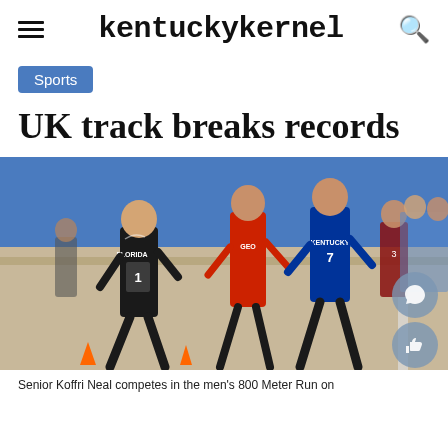kentuckykernel
Sports
UK track breaks records
[Figure (photo): Indoor track race with runners from Florida (#1), Georgia, and Kentucky (#7) competing. Multiple athletes visible, indoor blue-walled facility.]
Senior Koffri Neal competes in the men's 800 Meter Run on